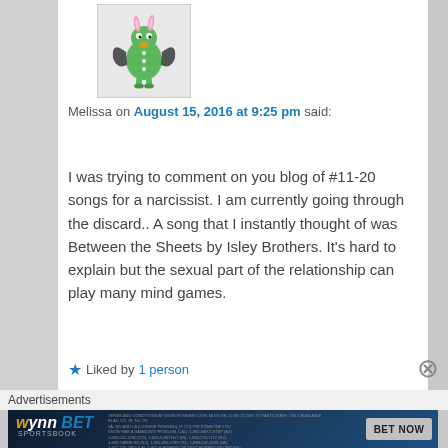[Figure (illustration): A cartoon green dragon/monster character with rabbit-like ears, bat wings, and standing on two legs against a light gray background — used as a blog commenter avatar.]
Melissa on August 15, 2016 at 9:25 pm said:
I was trying to comment on you blog of #11-20 songs for a narcissist. I am currently going through the discard.. A song that I instantly thought of was Between the Sheets by Isley Brothers. It's hard to explain but the sexual part of the relationship can play many mind games.
Liked by 1 person
Advertisements
[Figure (screenshot): WynnBET Sportsbook advertisement banner with blue gradient background, logo, fine print text, and a BET NOW button.]